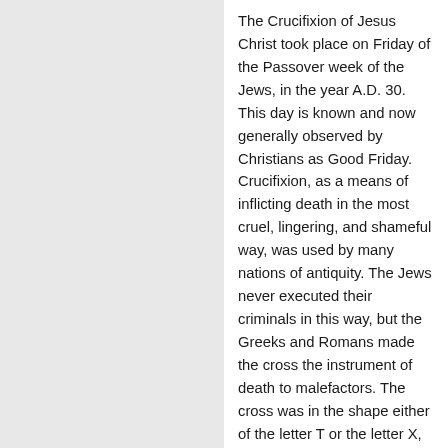The Crucifixion of Jesus Christ took place on Friday of the Passover week of the Jews, in the year A.D. 30. This day is known and now generally observed by Christians as Good Friday. Crucifixion, as a means of inflicting death in the most cruel, lingering, and shameful way, was used by many nations of antiquity. The Jews never executed their criminals in this way, but the Greeks and Romans made the cross the instrument of death to malefactors. The cross was in the shape either of the letter T or the letter X, or was in the form familiar in such paintings of the Crucifixion as the well-known representation of Rubens. It was the usual custom to compel the criminal to carry his own cross to the place of execution. The cross was the most